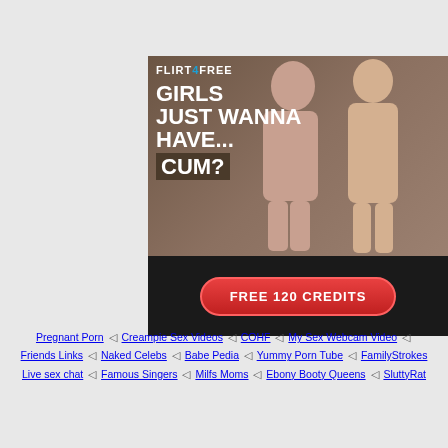[Figure (illustration): Flirt4Free advertisement banner with text 'GIRLS JUST WANNA HAVE... CUM?' and a red button 'FREE 120 CREDITS']
Pregnant Porn ◁ Creampie Sex Videos ◁ COHF ◁ My Sex Webcam Video ◁ Friends Links ◁ Naked Celebs ◁ Babe Pedia ◁ Yummy Porn Tube ◁ FamilyStrokes Live sex chat ◁ Famous Singers ◁ Milfs Moms ◁ Ebony Booty Queens ◁ SluttyRat